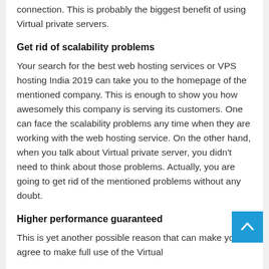connection. This is probably the biggest benefit of using Virtual private servers.
Get rid of scalability problems
Your search for the best web hosting services or VPS hosting India 2019 can take you to the homepage of the mentioned company. This is enough to show you how awesomely this company is serving its customers. One can face the scalability problems any time when they are working with the web hosting service. On the other hand, when you talk about Virtual private server, you didn't need to think about those problems. Actually, you are going to get rid of the mentioned problems without any doubt.
Higher performance guaranteed
This is yet another possible reason that can make you agree to make full use of the Virtual